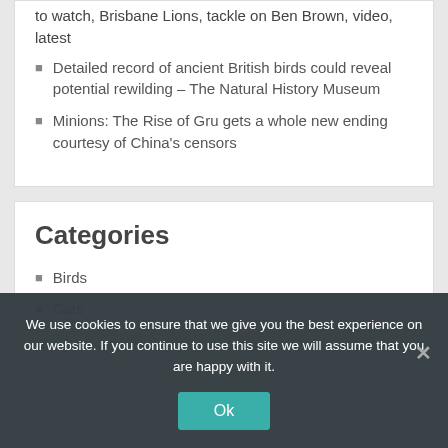to watch, Brisbane Lions, tackle on Ben Brown, video, latest
Detailed record of ancient British birds could reveal potential rewilding – The Natural History Museum
Minions: The Rise of Gru gets a whole new ending courtesy of China's censors
Categories
Birds
Cats
We use cookies to ensure that we give you the best experience on our website. If you continue to use this site we will assume that you are happy with it.
Ok